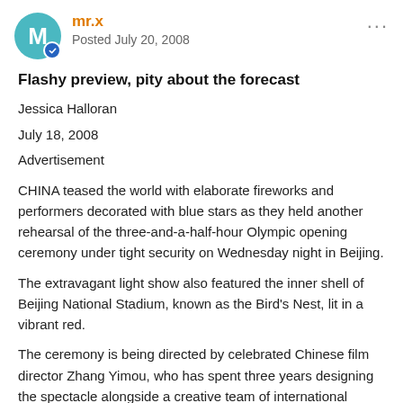mr.x · Posted July 20, 2008
Flashy preview, pity about the forecast
Jessica Halloran
July 18, 2008
Advertisement
CHINA teased the world with elaborate fireworks and performers decorated with blue stars as they held another rehearsal of the three-and-a-half-hour Olympic opening ceremony under tight security on Wednesday night in Beijing.
The extravagant light show also featured the inner shell of Beijing National Stadium, known as the Bird's Nest, lit in a vibrant red.
The ceremony is being directed by celebrated Chinese film director Zhang Yimou, who has spent three years designing the spectacle alongside a creative team of international artists and event planners.